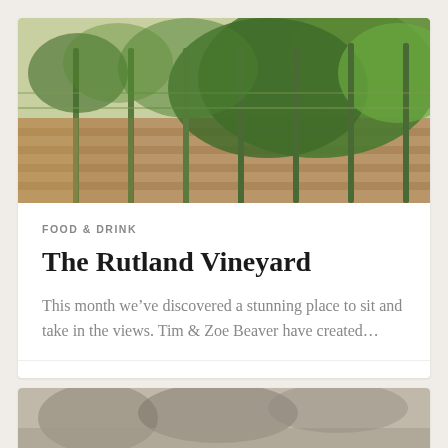[Figure (photo): Photograph of vineyard rows with green grape vines supported by wooden stakes, brown soil visible between rows]
FOOD & DRINK
The Rutland Vineyard
This month we've discovered a stunning place to sit and take in the views. Tim & Zoe Beaver have created...
August 12, 2022
[Figure (photo): Partial photo at bottom of page, content partially visible]